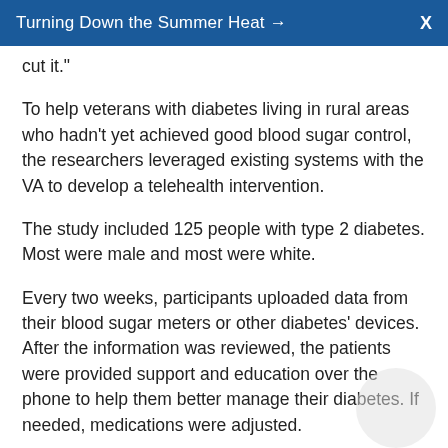Turning Down the Summer Heat →  X
cut it."
To help veterans with diabetes living in rural areas who hadn't yet achieved good blood sugar control, the researchers leveraged existing systems with the VA to develop a telehealth intervention.
The study included 125 people with type 2 diabetes. Most were male and most were white.
Every two weeks, participants uploaded data from their blood sugar meters or other diabetes' devices. After the information was reviewed, the patients were provided support and education over the phone to help them better manage their diabetes. If needed, medications were adjusted.
"For some people, the medication management piece